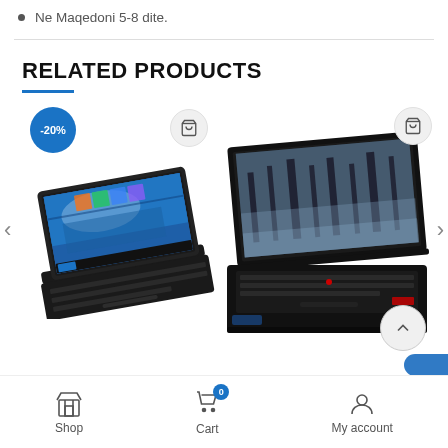Ne Maqedoni 5-8 dite.
RELATED PRODUCTS
[Figure (photo): Black laptop with Windows 10 desktop wallpaper on screen, shown at an angle, with a -20% discount badge]
[Figure (photo): Black ThinkPad laptop with dark forest wallpaper on screen, shown at an angle]
Shop   Cart   My account